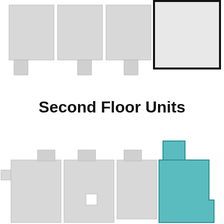[Figure (engineering-diagram): Floor plan diagram showing first floor units as gray shapes with one unit outlined in thick black, arranged in a row at the top of the page]
Second Floor Units
[Figure (engineering-diagram): Floor plan diagram showing second floor units, with most units in gray and one unit highlighted in teal/cyan color on the right side, arranged in a row at the bottom of the page]